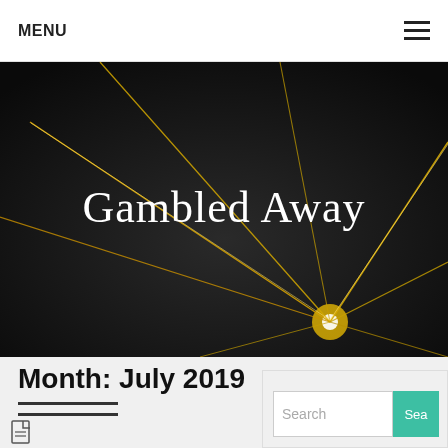MENU
[Figure (illustration): Dark background with glowing golden geometric lines radiating from a point, with the text 'Gambled Away' overlaid in white serif font]
Month: July 2019